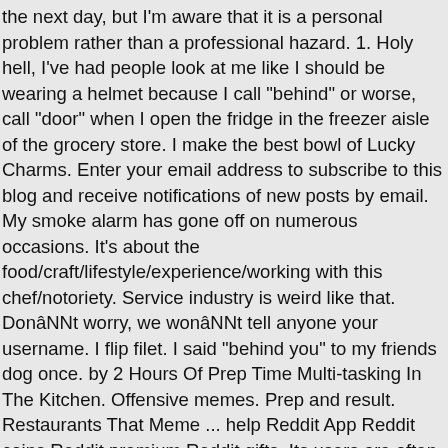the next day, but I'm aware that it is a personal problem rather than a professional hazard. 1. Holy hell, I've had people look at me like I should be wearing a helmet because I call "behind" or worse, call "door" when I open the fridge in the freezer aisle of the grocery store. I make the best bowl of Lucky Charms. Enter your email address to subscribe to this blog and receive notifications of new posts by email. My smoke alarm has gone off on numerous occasions. It's about the food/craft/lifestyle/experience/working with this chef/notoriety. Service industry is weird like that. Donât worry, we wonât tell anyone your username. I flip filet. I said "behind you" to my friends dog once. by 2 Hours Of Prep Time Multi-tasking In The Kitchen. Offensive memes. Prep and result. Restaurants That Meme ... help Reddit App Reddit coins Reddit premium Reddit gifts. Its users are often referred to as âRedditorsâ, and belong to what has been called âone of the most influential communities on the Internetâ in an article on Voltier. if ( localStorage.getItem(skinItemId ) ) { www.x2u.club